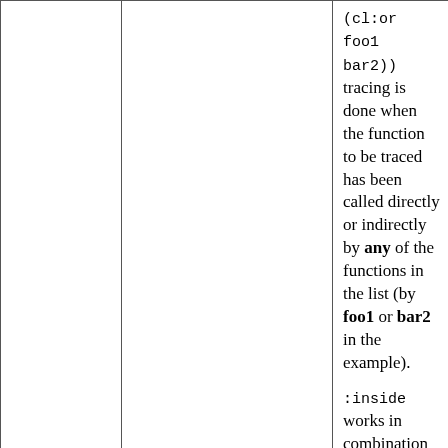|  |  | (cl:or foo1 bar2)) tracing is done when the function to be traced has been called directly or indirectly by any of the functions in the list (by foo1 or bar2 in the example).

:inside works in combination with :not-inside, described next. Both must be satisified for tracing to occur.

For example, (trace (deeper :inside deep)) would trace the function deeper only when called |